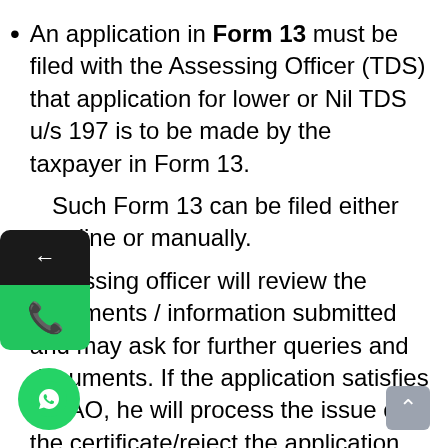An application in Form 13 must be filed with the Assessing Officer (TDS) that application for lower or Nil TDS u/s 197 is to be made by the taxpayer in Form 13.
Such Form 13 can be filed either online or manually.
Assessing officer will review the documents / information submitted and may ask for further queries and documents. If the application satisfies the AO, he will process the issue of the certificate/reject the application.